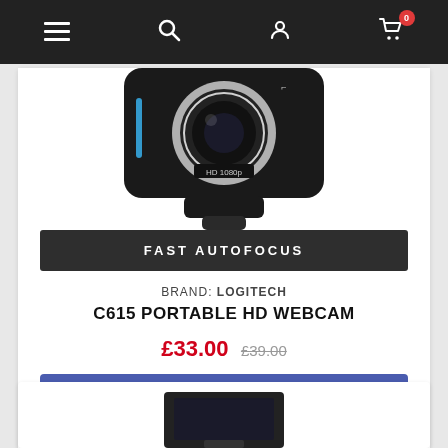Navigation bar with menu, search, account, and cart (0 items) icons
[Figure (photo): Close-up photo of Logitech C615 webcam lens, showing HD 1080p label and silver ring, on white background]
FAST AUTOFOCUS
BRAND: LOGITECH
C615 PORTABLE HD WEBCAM
£33.00  £39.00
Add to cart
In stock
[Figure (photo): Partial view of another product image at the bottom of the page]